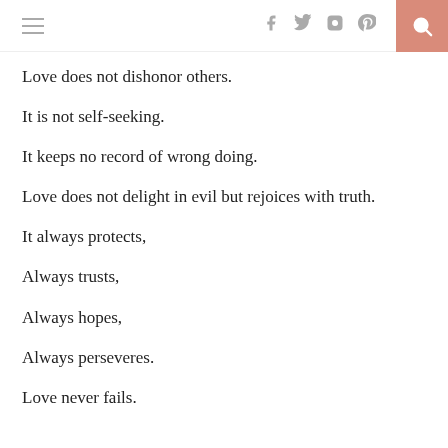navigation header with hamburger menu, social icons (f, twitter, instagram, pinterest), and search button
Love does not dishonor others.
It is not self-seeking.
It keeps no record of wrong doing.
Love does not delight in evil but rejoices with truth.
It always protects,
Always trusts,
Always hopes,
Always perseveres.
Love never fails.